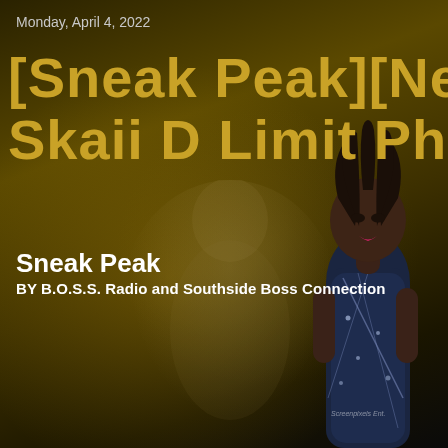Monday, April 4, 2022
[Sneak Peak][New M... Skaii D Limit Pheno...
Sneak Peak
BY B.O.S.S. Radio and Southside Boss Connection
[Figure (photo): Woman in a beaded/sequined dark bodysuit with braided hair, standing against a dark olive/gold background. A faint silhouette/ghost image is visible behind her in the background.]